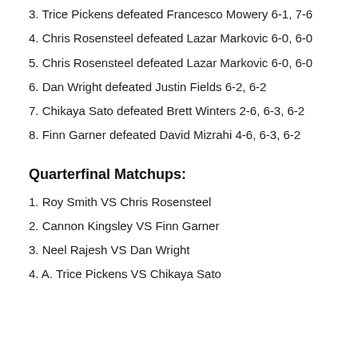3. Trice Pickens defeated Francesco Mowery 6-1, 7-6
4. Chris Rosensteel defeated Lazar Markovic 6-0, 6-0
5. Chris Rosensteel defeated Lazar Markovic 6-0, 6-0
6. Dan Wright defeated Justin Fields 6-2, 6-2
7. Chikaya Sato defeated Brett Winters 2-6, 6-3, 6-2
8. Finn Garner defeated David Mizrahi 4-6, 6-3, 6-2
Quarterfinal Matchups:
1. Roy Smith VS Chris Rosensteel
2. Cannon Kingsley VS Finn Garner
3. Neel Rajesh VS Dan Wright
4. A. Trice Pickens VS Chikaya Sato